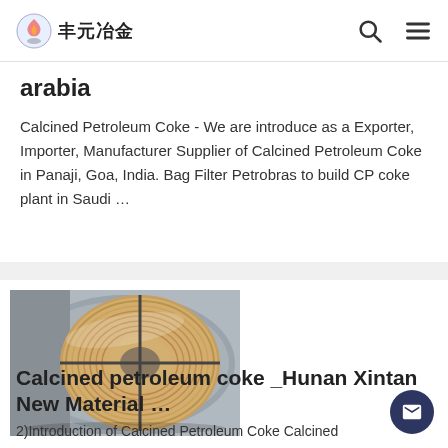丰元冶金 (logo and navigation bar)
arabia
Calcined Petroleum Coke - We are introduce as a Exporter, Importer, Manufacturer Supplier of Calcined Petroleum Coke in Panaji, Goa, India. Bag Filter Petrobras to build CP coke plant in Saudi …
[Figure (photo): A coiled roll of metallic wire or strip material wrapped in plastic, viewed from above, sitting inside a larger circular metal drum or container.]
Calcined petroleum coke _Hunan Xintan New Material …
2)Introduction of Calcined Petroleum Coke Calcined